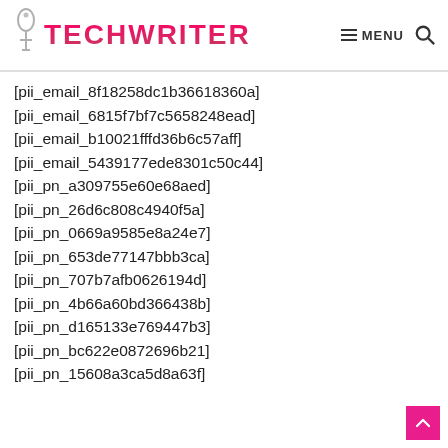TECHWRITER — MENU
[pii_email_8f18258dc1b36618360a]
[pii_email_6815f7bf7c5658248ead]
[pii_email_b10021fffd36b6c57aff]
[pii_email_5439177ede8301c50c44]
[pii_pn_a309755e60e68aed]
[pii_pn_26d6c808c4940f5a]
[pii_pn_0669a9585e8a24e7]
[pii_pn_653de77147bbb3ca]
[pii_pn_707b7afb0626194d]
[pii_pn_4b66a60bd366438b]
[pii_pn_d165133e769447b3]
[pii_pn_bc622e0872696b21]
[pii_pn_15608a3ca5d8a63f]